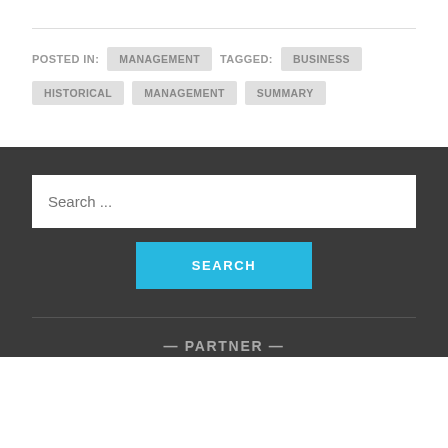POSTED IN: MANAGEMENT   TAGGED: BUSINESS   HISTORICAL   MANAGEMENT   SUMMARY
Search ...
SEARCH
— PARTNER —